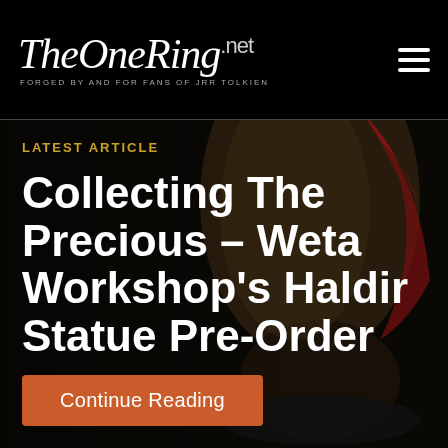TheOneRing.net — FORGED BY AND FOR FANS OF JRR TOLKIEN
LATEST ARTICLE
Collecting The Precious – Weta Workshop's Haldir Statue Pre-Order
[Figure (photo): Dark background photo of a detailed fantasy statue (Haldir) with a red cape, on a stone-like base, partially lit against a black background]
Continue Reading